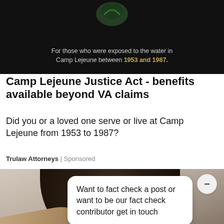[Figure (photo): Dark-background advertisement banner for Camp Lejeune with text: 'For those who were exposed to the water in Camp Lejeune between 1953 and 1987.' The years 1953 and 1987 are highlighted in gold.]
Camp Lejeune Justice Act - benefits available beyond VA claims
Did you or a loved one serve or live at Camp Lejeune from 1953 to 1987?
Trulaw Attorneys | Sponsored
[Figure (photo): Photo of a person receiving a head/neck massage. A chat bubble overlay reads: 'Want to fact check a post or want to be our fact check contributor get in touch'. A minimize button and red 'Ask us' button are visible.]